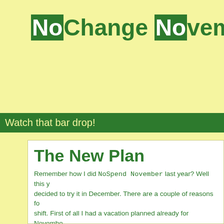NoChange November 2010
Watch that bar drop!
The New Plan
Remember how I did NoSpend November last year? Well this year I decided to try it in December. There are a couple of reasons for this shift. First of all I had a vacation planned already for November and didn't want to skimp on it since vacations for me are so rare. The other reason is that while last November was difficult (primarily because of football season) it wasn't as big a stretch to pull off. Christmas is a big spending time and I found that instead of really saving on holiday spending, it could have been differed. So is it really no spend? Close call.
So this time I figured I would get back into the blogging habit by doing Change November showing you what happens in a typical month for me. I will do my best to be realistic about it and not restrict my spending from the norm so you can see it unadorned.